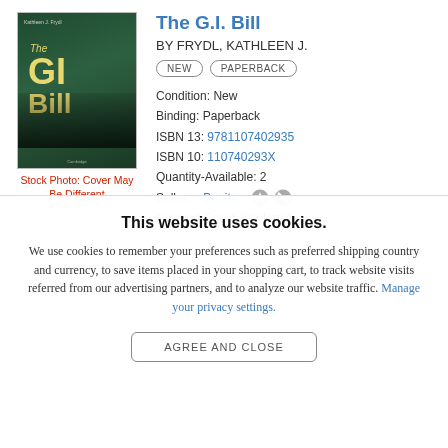[Figure (illustration): Book cover of 'The G.I. Bill' by Kathleen J. Frydl, dark green cover with gold title text and soldiers silhouette]
Stock Photo: Cover May Be Different
The G.I. Bill
BY FRYDL, KATHLEEN J.
NEW   PAPERBACK
Condition:  New
Binding:  Paperback
ISBN 13:  9781107402935
ISBN 10:  110740293X
Quantity-Available:  2
Seller:  Bonita
Newport Coast, California
This website uses cookies.
We use cookies to remember your preferences such as preferred shipping country and currency, to save items placed in your shopping cart, to track website visits referred from our advertising partners, and to analyze our website traffic. Manage your privacy settings.
AGREE AND CLOSE